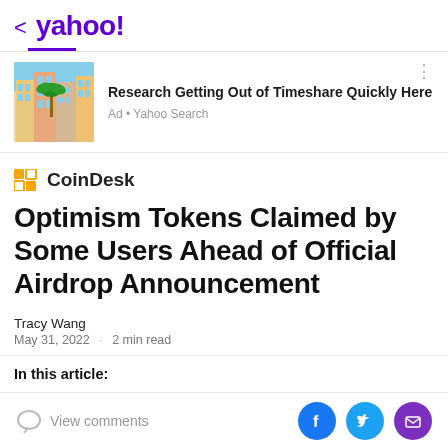< yahoo!
[Figure (screenshot): Advertisement: photo of colorful Mediterranean-style buildings with a palm tree]
Research Getting Out of Timeshare Quickly Here
Ad • Yahoo Search
[Figure (logo): CoinDesk logo with orange coin icon]
Optimism Tokens Claimed by Some Users Ahead of Official Airdrop Announcement
Tracy Wang
May 31, 2022 · 2 min read
In this article:
View comments